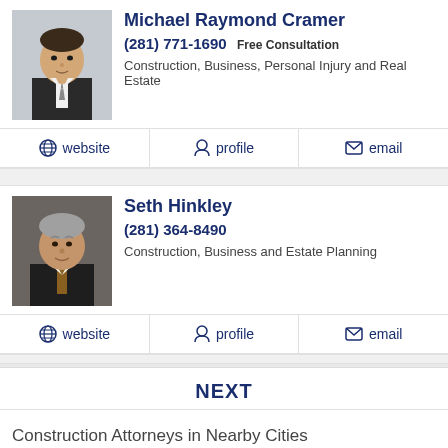Michael Raymond Cramer
(281) 771-1690 Free Consultation
Construction, Business, Personal Injury and Real Estate
website  profile  email
Seth Hinkley
(281) 364-8490
Construction, Business and Estate Planning
website  profile  email
NEXT
Construction Attorneys in Nearby Cities